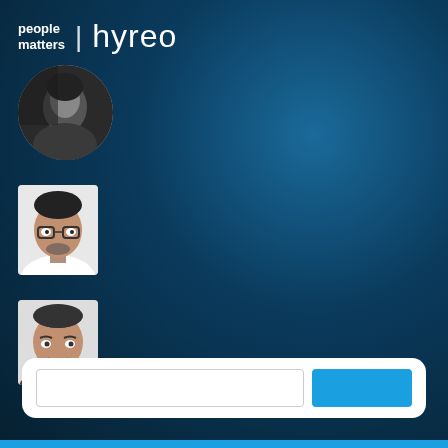[Figure (logo): people matters | hyreo logo - white text on dark blue background]
[Figure (photo): Circular profile photo of a woman looking upward, black and white]
[Figure (photo): Rectangular profile photo of a man with glasses, black and white]
[Figure (photo): Rectangular profile photo of a man smiling, black and white]
[Figure (screenshot): White search bar with blue button on right side, at bottom of page]